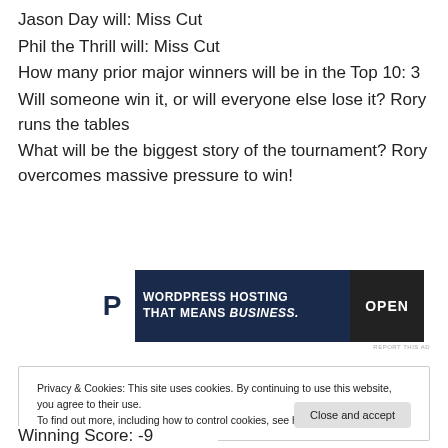Jason Day will: Miss Cut
Phil the Thrill will: Miss Cut
How many prior major winners will be in the Top 10: 3
Will someone win it, or will everyone else lose it? Rory runs the tables
What will be the biggest story of the tournament? Rory overcomes massive pressure to win!
[Figure (other): Advertisement banner: WordPress Hosting That Means Business. with an OPEN sign image]
REPORT THIS AD
Privacy & Cookies: This site uses cookies. By continuing to use this website, you agree to their use.
To find out more, including how to control cookies, see here: Cookie Policy
Winning Score: -9